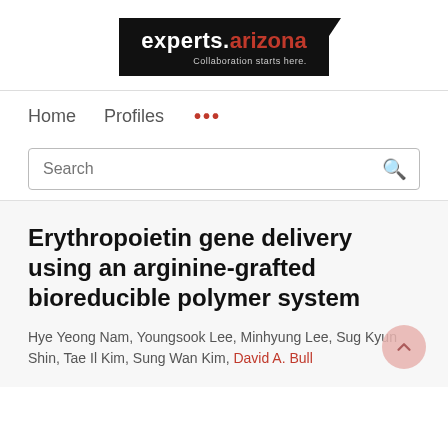[Figure (logo): experts.arizona logo with tagline 'Collaboration starts here.' on black background]
Home    Profiles    ...
Search
Erythropoietin gene delivery using an arginine-grafted bioreducible polymer system
Hye Yeong Nam, Youngsook Lee, Minhyung Lee, Sug Kyun Shin, Tae Il Kim, Sung Wan Kim, David A. Bull